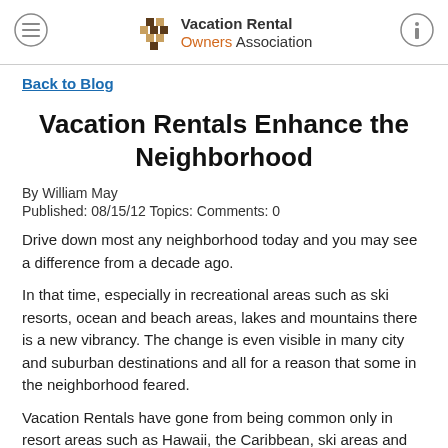Vacation Rental Owners Association
Back to Blog
Vacation Rentals Enhance the Neighborhood
By William May
Published: 08/15/12 Topics: Comments: 0
Drive down most any neighborhood today and you may see a difference from a decade ago.
In that time, especially in recreational areas such as ski resorts, ocean and beach areas, lakes and mountains there is a new vibrancy. The change is even visible in many city and suburban destinations and all for a reason that some in the neighborhood feared.
Vacation Rentals have gone from being common only in resort areas such as Hawaii, the Caribbean, ski areas and beach communities to having become mainstream in just